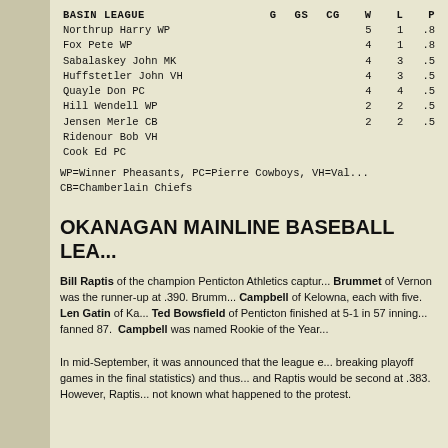| Name | G | GS | CG | W | L | P |
| --- | --- | --- | --- | --- | --- | --- |
| BASIN LEAGUE | G | GS | CG | W | L | P |
| Northrup Harry WP |  |  |  | 5 | 1 | .8 |
| Fox Pete WP |  |  |  | 4 | 1 | .8 |
| Sabalaskey John MK |  |  |  | 4 | 3 | .5 |
| Huffstetler John VH |  |  |  | 4 | 3 | .5 |
| Quayle Don PC |  |  |  | 4 | 4 | .5 |
| Hill Wendell WP |  |  |  | 2 | 2 | .5 |
| Jensen Merle CB |  |  |  | 2 | 2 | .5 |
| Ridenour Bob VH |  |  |  |  |  |  |
| Cook Ed PC |  |  |  |  |  |  |
WP=Winner Pheasants, PC=Pierre Cowboys, VH=Val... CB=Chamberlain Chiefs
OKANAGAN MAINLINE BASEBALL LEA...
Bill Raptis of the champion Penticton Athletics captur... Brummet of Vernon was the runner-up at .390. Brumm... Campbell of Kelowna, each with five. Len Gatin of Ka... Ted Bowsfield of Penticton finished at 5-1 in 57 inning... fanned 87. Campbell was named Rookie of the Year...
In mid-September, it was announced that the league e... breaking playoff games in the final statistics) and thus... and Raptis would be second at .383. However, Raptis... not known what happened to the protest.